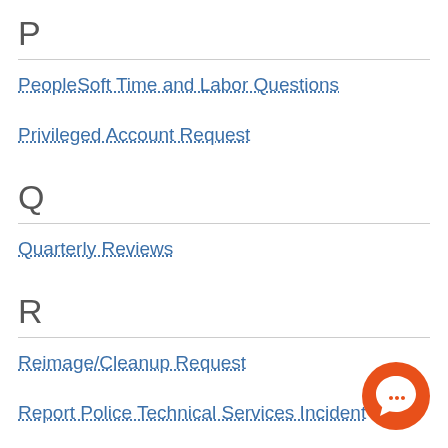P
PeopleSoft Time and Labor Questions
Privileged Account Request
Q
Quarterly Reviews
R
Reimage/Cleanup Request
Report Police Technical Services Incident